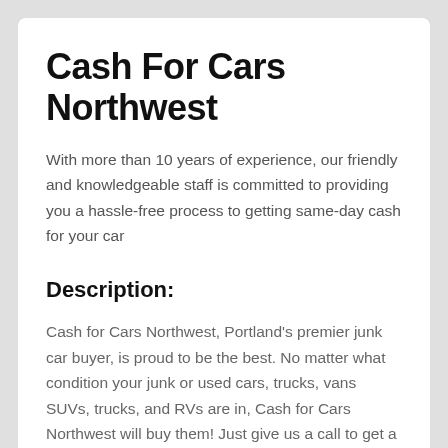Cash For Cars Northwest
With more than 10 years of experience, our friendly and knowledgeable staff is committed to providing you a hassle-free process to getting same-day cash for your car
Description:
Cash for Cars Northwest, Portland's premier junk car buyer, is proud to be the best. No matter what condition your junk or used cars, trucks, vans SUVs, trucks, and RVs are in, Cash for Cars Northwest will buy them! Just give us a call to get a free quote on your used car. We can usually tow your car away and give you cash the same day.